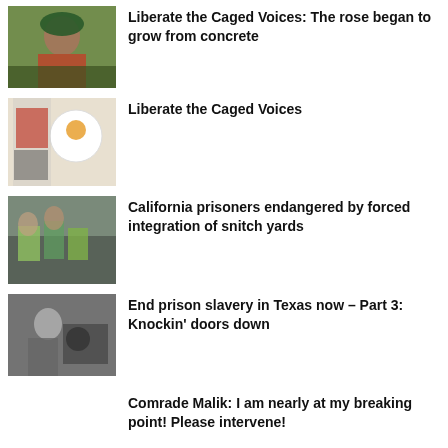[Figure (photo): Person wearing colorful headwrap and beads, outdoors near a building]
Liberate the Caged Voices: The rose began to grow from concrete
[Figure (photo): Person in red jacket standing next to a circular poster/sign with orange logo]
Liberate the Caged Voices
[Figure (photo): Group of protesters holding signs outdoors]
California prisoners endangered by forced integration of snitch yards
[Figure (photo): Black and white photo of people near machinery]
End prison slavery in Texas now – Part 3: Knockin' doors down
Comrade Malik: I am nearly at my breaking point! Please intervene!